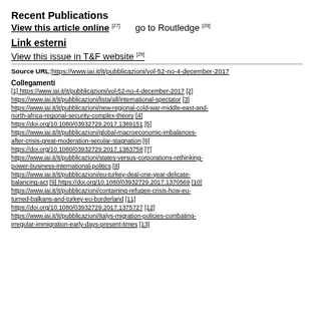Recent Publications
View this article online [27]   go to Routledge [28]
Link esterni
View this issue in T&F website [29]
Source URL: https://www.iai.it/it/pubblicazioni/vol-52-no-4-december-2017
Collegamenti
[1] https://www.iai.it/it/pubblicazioni/vol-52-no-4-december-2017 [2] https://www.iai.it/it/pubblicazioni/lista/all/international-spectator [3] https://www.iai.it/it/pubblicazioni/new-regional-cold-war-middle-east-and-north-africa-regional-security-complex-theory [4] https://doi.org/10.1080/03932729.2017.1389151 [5] https://www.iai.it/it/pubblicazioni/global-macroeconomic-imbalances-after-crisis-great-moderation-secular-stagnation [6] https://doi.org/10.1080/03932729.2017.1383758 [7] https://www.iai.it/it/pubblicazioni/states-versus-corporations-rethinking-power-business-international-politics [8] https://www.iai.it/it/pubblicazioni/eu-turkey-deal-one-year-delicate-balancing-act [9] https://doi.org/10.1080/03932729.2017.1370569 [10] https://www.iai.it/it/pubblicazioni/containing-refugee-crisis-how-eu-turned-balkans-and-turkey-eu-borderland [11] https://doi.org/10.1080/03932729.2017.1375727 [12] https://www.iai.it/it/pubblicazioni/italys-migration-policies-combating-irregular-immigration-early-days-present-times [13]